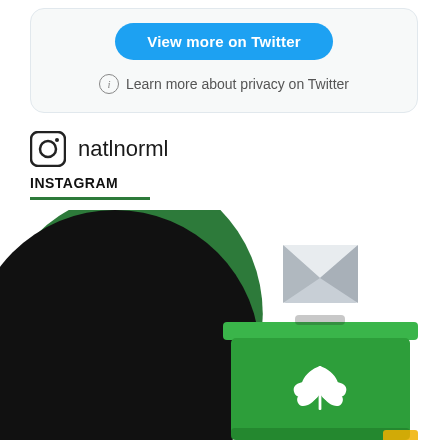[Figure (screenshot): Twitter embed card with blue 'View more on Twitter' button and privacy info link]
View more on Twitter
Learn more about privacy on Twitter
natlnorml
INSTAGRAM
[Figure (illustration): Instagram post graphic showing a green cannabis leaf ballot box with a ballot being inserted, on a background of green and black circular shapes]